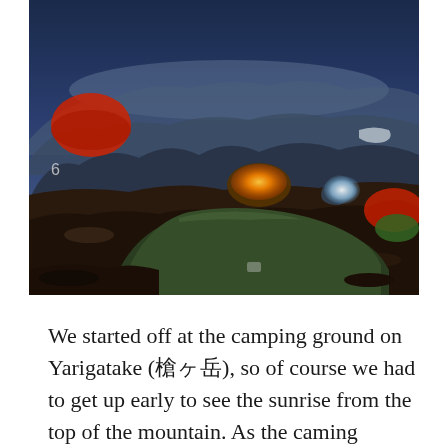[Figure (photo): Mountain camping scene at dusk/dawn. Several colorful tents are set up on rocky alpine terrain. A large dark green tent is in the foreground, an orange-yellow glowing tent and a white-lit tent are in the middle ground, and a red tent dome is visible on the upper left. The background shows a layered mountain range under a deep blue twilight sky. A number '6' is visible on the left side of the image.]
We started off at the camping ground on Yarigatake (槍ヶ岳), so of course we had to get up early to see the sunrise from the top of the mountain. As the caming ground is around